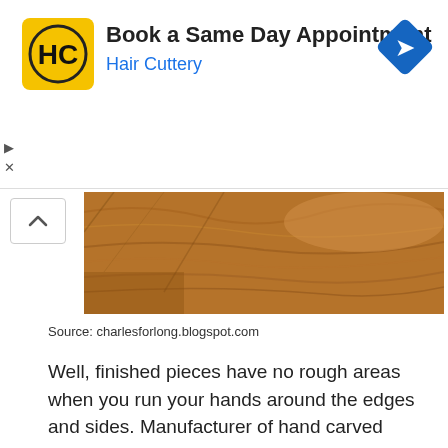[Figure (other): Advertisement banner for Hair Cuttery with HC logo, title 'Book a Same Day Appointment', subtitle 'Hair Cuttery', and blue navigation diamond icon]
[Figure (photo): Partial view of wood texture/surface, warm brown tones, appears to be teak wood]
Source: charlesforlong.blogspot.com
Well, finished pieces have no rough areas when you run your hands around the edges and sides. Manufacturer of hand carved wooden furniture we create timeless hand carved teak wood furniture which gives royal look to your home.
[Figure (photo): Teak wood sofa set under teak wood Deewana Sofa & Dining - broken image icon visible]